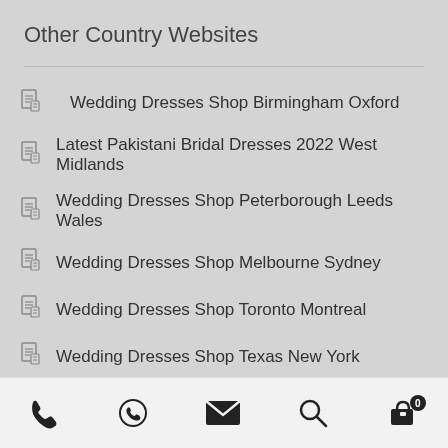Other Country Websites
Wedding Dresses Shop Birmingham Oxford
Latest Pakistani Bridal Dresses 2022 West Midlands
Wedding Dresses Shop Peterborough Leeds Wales
Wedding Dresses Shop Melbourne Sydney
Wedding Dresses Shop Toronto Montreal
Wedding Dresses Shop Texas New York
Wedding Dresses Shop Berlin Oslo Amsterdam Paris
[phone] [whatsapp] [email] [search] [cart: 0]